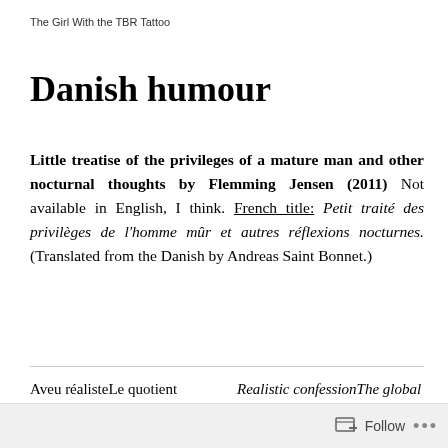The Girl With the TBR Tattoo
Danish humour
Little treatise of the privileges of a mature man and other nocturnal thoughts by Flemming Jensen (2011) Not available in English, I think. French title: Petit traité des privilèges de l'homme mûr et autres réflexions nocturnes. (Translated from the Danish by Andreas Saint Bonnet.)
| French | English |
| --- | --- |
| Aveu réalisteLe quotient intellectuel global sur terre est constant. | Realistic confessionThe global intellectual quotient on earth is steady. |
Follow